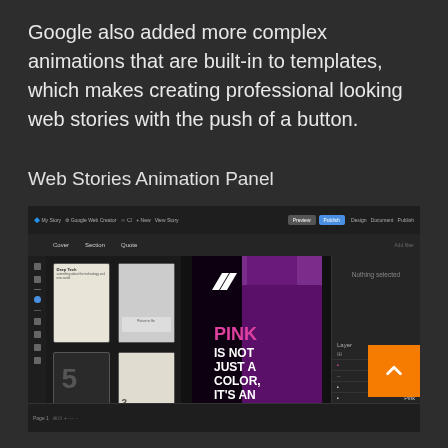Google also added more complex animations that are built-in to templates, which makes creating professional looking web stories with the push of a button.
Web Stories Animation Panel
[Figure (screenshot): Screenshot of Google Web Stories editor showing animation panel with slide thumbnails on the left, a main editing canvas in the center displaying a pink-themed story card with text 'PINK IS NOT JUST A COLOR, IT'S AN ATTITUDE! - Artist', and a right panel showing layers and properties. An orange scroll-to-top button is visible in the bottom right.]